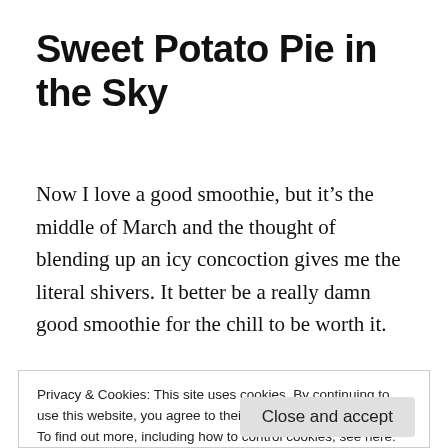Sweet Potato Pie in the Sky
Now I love a good smoothie, but it’s the middle of March and the thought of blending up an icy concoction gives me the literal shivers. It better be a really damn good smoothie for the chill to be worth it.
Privacy & Cookies: This site uses cookies. By continuing to use this website, you agree to their use.
To find out more, including how to control cookies, see here: Cookie Policy
Close and accept